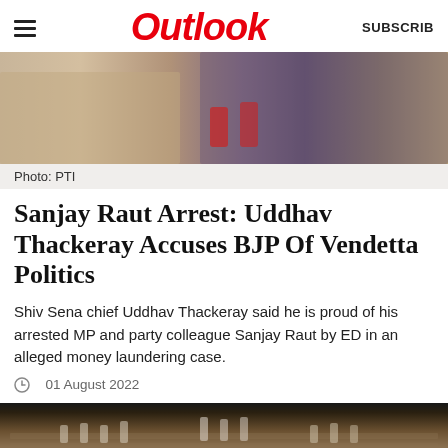Outlook
[Figure (photo): Two people sitting, one in a light yellow outfit and one in purple/black, with microphones visible in the background]
Photo: PTI
Sanjay Raut Arrest: Uddhav Thackeray Accuses BJP Of Vendetta Politics
Shiv Sena chief Uddhav Thackeray said he is proud of his arrested MP and party colleague Sanjay Raut by ED in an alleged money laundering case.
01 August 2022
[Figure (photo): Parliament session interior showing legislators seated in a grand hall with wooden benches and ornate architecture]